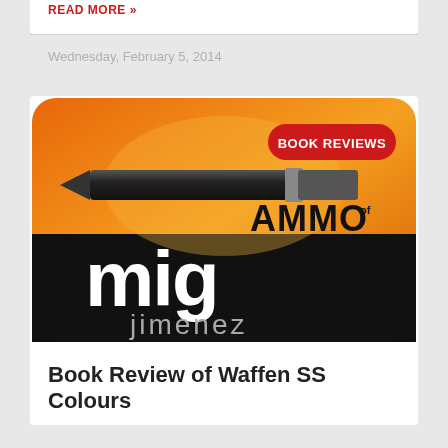READ MORE »
Wednesday, February 5, 2014
[Figure (logo): AMMO of Mig Jimenez logo on orange and black background with a bullet/shell casing image, overlaid with a red 'BOOK REVIEWS' badge]
Book Review of Waffen SS Colours